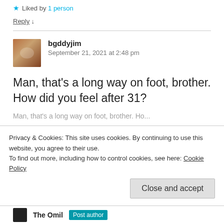★ Liked by 1 person
Reply ↓
bgddyjim
September 21, 2021 at 2:48 pm
Man, that's a long way on foot, brother. How did you feel after 31?
Privacy & Cookies: This site uses cookies. By continuing to use this website, you agree to their use.
To find out more, including how to control cookies, see here: Cookie Policy
Close and accept
The Omil  Post author